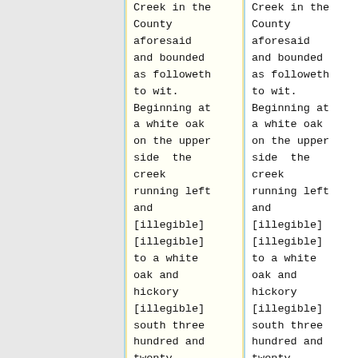Creek in the County aforesaid and bounded as followeth to wit. Beginning at a white oak on the upper side  the creek running left and [illegible] [illegible] to a white oak and hickory [illegible] south three hundred and twenty
Creek in the County aforesaid and bounded as followeth to wit. Beginning at a white oak on the upper side  the creek running left and [illegible] [illegible] to a white oak and hickory [illegible] south three hundred and twenty